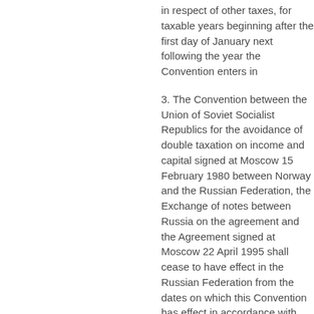in respect of other taxes, for taxable years beginning after the first day of January next following the year the Convention enters in
3. The Convention between the Union of Soviet Socialist Republics for the avoidance of double taxation on income and capital signed at Moscow 15 February 1980 between Norway and the Russian Federation, the Exchange of notes between Russia on the agreement and the Agreement signed at Moscow 22 April 1995 shall cease to have effect in the Russian Federation from the dates on which this Convention has effect in accordance with para
Individuals covered by the provisions of the Convention of 15 February 1980 when the said Convention is present in the Contracting States shall continue to be covered by the Conv
Article 30
TERMINATION
This Convention shall remain in force until terminated. Either Contracting State may, on or before the